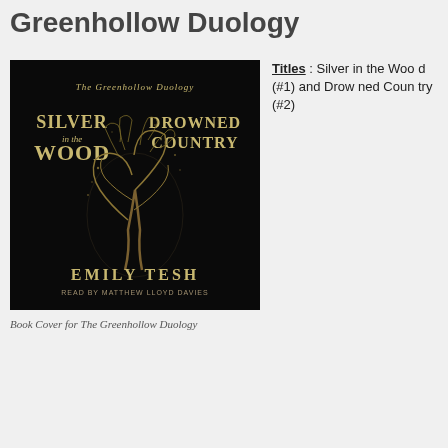Greenhollow Duology
[Figure (photo): Book cover for The Greenhollow Duology audiobook by Emily Tesh, read by Matthew Lloyd Davies. Black background with golden tree-like figure forming a human face profile. Titles shown: SILVER in the WOOD and DROWNED COUNTRY.]
Book Cover for The Greenhollow Duology
Titles : Silver in the Wood (#1) and Drowned Country (#2)